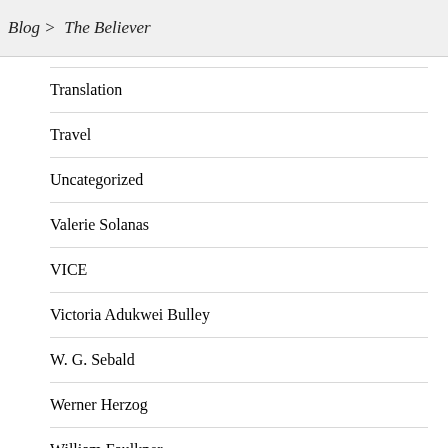Blog > The Believer
Translation
Travel
Uncategorized
Valerie Solanas
VICE
Victoria Adukwei Bulley
W. G. Sebald
Werner Herzog
William Faulkner
William Gibson
William Shakespeare